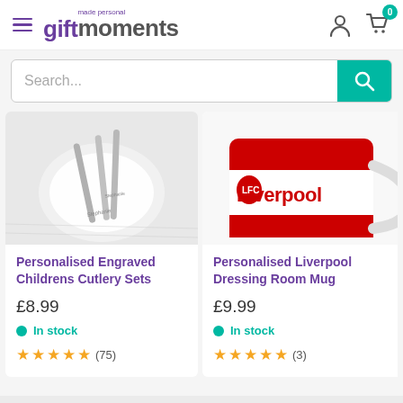[Figure (screenshot): Gift Moments website header with hamburger menu, logo, user account icon, and cart icon with badge showing 0]
[Figure (screenshot): Search bar with placeholder text 'Search...' and teal search button]
[Figure (photo): Personalised engraved childrens cutlery set on white marble background]
Personalised Engraved Childrens Cutlery Sets
£8.99
In stock
(75)
[Figure (photo): Personalised Liverpool Dressing Room Mug, red and white with Liverpool FC branding]
Personalised Liverpool Dressing Room Mug
£9.99
In stock
(3)